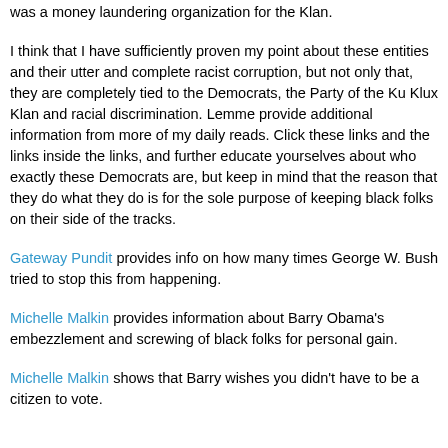was a money laundering organization for the Klan.
I think that I have sufficiently proven my point about these entities and their utter and complete racist corruption, but not only that, they are completely tied to the Democrats, the Party of the Ku Klux Klan and racial discrimination. Lemme provide additional information from more of my daily reads. Click these links and the links inside the links, and further educate yourselves about who exactly these Democrats are, but keep in mind that the reason that they do what they do is for the sole purpose of keeping black folks on their side of the tracks.
Gateway Pundit provides info on how many times George W. Bush tried to stop this from happening.
Michelle Malkin provides information about Barry Obama's embezzlement and screwing of black folks for personal gain.
Michelle Malkin shows that Barry wishes you didn't have to be a citizen to vote.